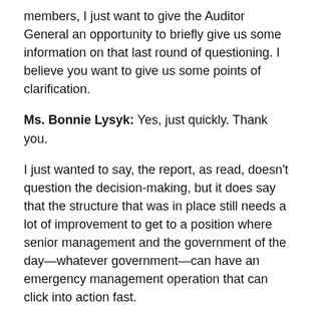members, I just want to give the Auditor General an opportunity to briefly give us some information on that last round of questioning. I believe you want to give us some points of clarification.
Ms. Bonnie Lysyk: Yes, just quickly. Thank you.
I just wanted to say, the report, as read, doesn't question the decision-making, but it does say that the structure that was in place still needs a lot of improvement to get to a position where senior management and the government of the day—whatever government—can have an emergency management operation that can click into action fast.
In terms of timing and requests for information from our office, we're no different from other legislative offices that conducted audits during COVID in order to provide input to the process, because EMO is one of continuous change. We did get responses that recommendations would be